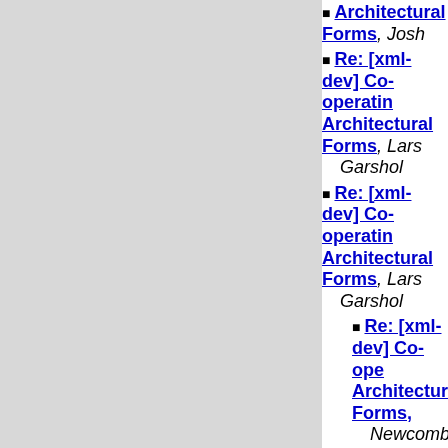Re: [xml-dev] Co-operating Architectural Forms, Lars Marius Garshol
Re: [xml-dev] Co-operating Architectural Forms, Lars Marius Garshol
Re: [xml-dev] Co-ope Architectural Forms, Newcomb
RE: [xml-dev] C with Architectu Michael Kay
Re: [xml-dev] C with Architectu Lars Marius Gar
Re: [xml-dev] Co-ope Architectural Forms,
RE: [xml-dev] Co-operating Architectural Forms, Bulla (Len)
RE: [xml-dev] Co-operating Architectural Forms, Mich
RE: [xml-dev] Co-op Architectural Forms,
RE: [xml-dev] Co-ope